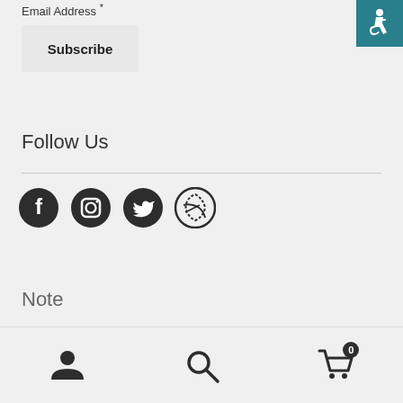Email Address *
Subscribe
Follow Us
[Figure (illustration): Social media icons: Facebook, Instagram, Twitter, and a fourth circular logo]
Note
User icon, Search icon, Cart icon with 0 badge